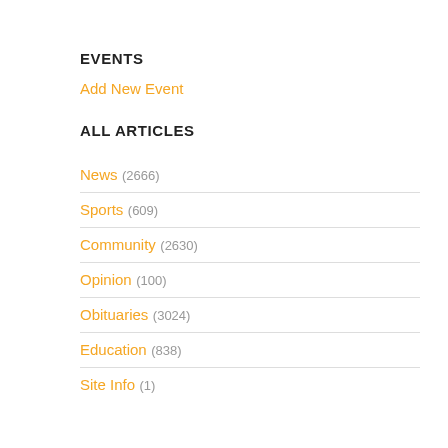EVENTS
Add New Event
ALL ARTICLES
News (2666)
Sports (609)
Community (2630)
Opinion (100)
Obituaries (3024)
Education (838)
Site Info (1)